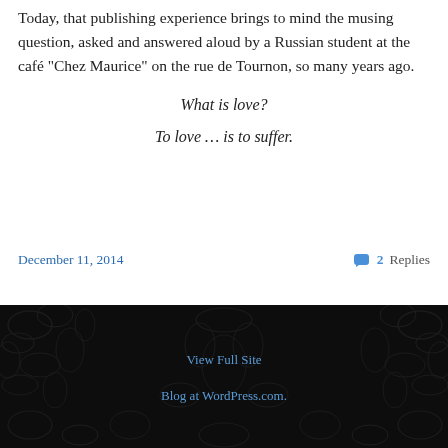Today, that publishing experience brings to mind the musing question, asked and answered aloud by a Russian student at the café “Chez Maurice” on the rue de Tournon, so many years ago.
What is love?
To love … is to suffer.
December 11, 2014 | 2 Replies
View Full Site | Blog at WordPress.com.